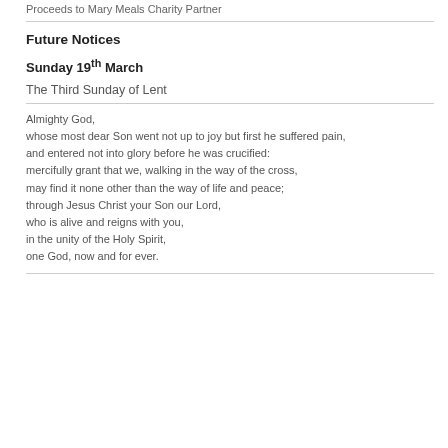Proceeds to Mary Meals Charity Partner
Future Notices
Sunday 19th March
The Third Sunday of Lent
Almighty God,
whose most dear Son went not up to joy but first he suffered pain,
and entered not into glory before he was crucified:
mercifully grant that we, walking in the way of the cross,
may find it none other than the way of life and peace;
through Jesus Christ your Son our Lord,
who is alive and reigns with you,
in the unity of the Holy Spirit,
one God, now and for ever.